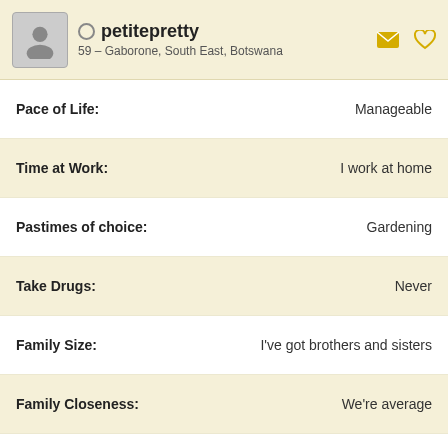petitepretty
59 – Gaborone, South East, Botswana
| Field | Value |
| --- | --- |
| Pace of Life: | Manageable |
| Time at Work: | I work at home |
| Pastimes of choice: | Gardening |
| Take Drugs: | Never |
| Family Size: | I've got brothers and sisters |
| Family Closeness: | We're average |
| Relationship Type: | I'm just plain single |
| Willing to Relocate: | I'd consider it |